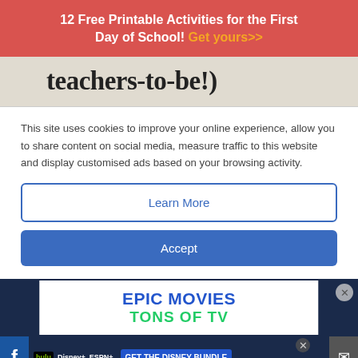12 Free Printable Activities for the First Day of School! Get yours>>
[Figure (photo): Partial image showing text 'teachers-to-be!' on a light background]
This site uses cookies to improve your online experience, allow you to share content on social media, measure traffic to this website and display customised ads based on your browsing activity.
Learn More
Accept
[Figure (screenshot): Advertisement banner showing 'EPIC MOVIES TONS OF TV' text for a streaming service]
[Figure (screenshot): Disney Bundle advertisement bar with Hulu, Disney+, ESPN+ logos and 'GET THE DISNEY BUNDLE' button, with Facebook and email icons on sides]